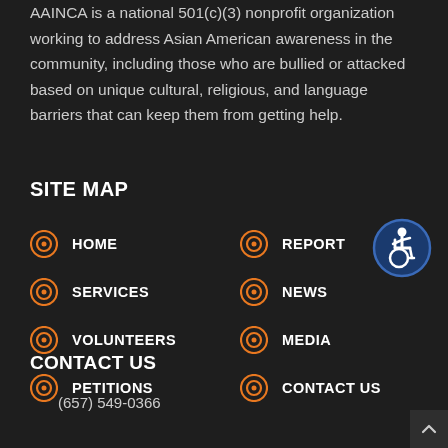AAINCA is a national 501(c)(3) nonprofit organization working to address Asian American awareness in the community, including those who are bullied or attacked based on unique cultural, religious, and language barriers that can keep them from getting help.
SITE MAP
HOME
REPORT
SERVICES
NEWS
VOLUNTEERS
MEDIA
PETITIONS
CONTACT US
[Figure (illustration): Accessibility icon — blue circle with white wheelchair user symbol]
CONTACT US
(657) 549-0366